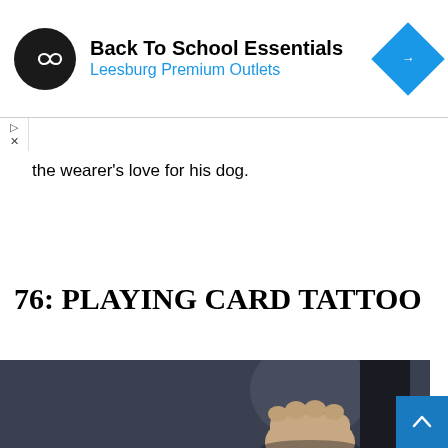[Figure (screenshot): Advertisement banner for 'Back To School Essentials' at Leesburg Premium Outlets, with circular logo and blue direction arrow icon]
the wearer's love for his dog.
76: PLAYING CARD TATTOO
[Figure (photo): A close-up photograph of a hand making a fist, with blurred dark background, showing knuckles with a tattoo]